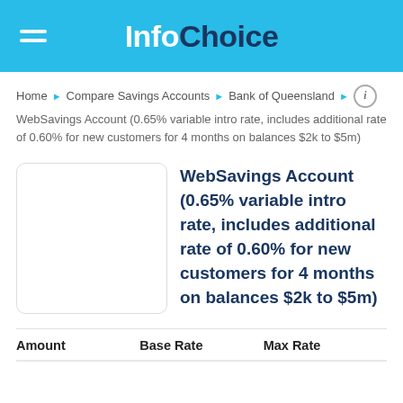InfoChoice
Home ▶ Compare Savings Accounts ▶ Bank of Queensland ▶ WebSavings Account (0.65% variable intro rate, includes additional rate of 0.60% for new customers for 4 months on balances $2k to $5m)
WebSavings Account (0.65% variable intro rate, includes additional rate of 0.60% for new customers for 4 months on balances $2k to $5m)
| Amount | Base Rate | Max Rate |
| --- | --- | --- |